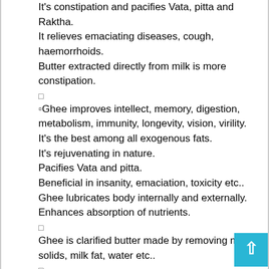It's constipation and pacifies Vata, pitta and Raktha.
It relieves emaciating diseases, cough, haemorrhoids.
Butter extracted directly from milk is more constipation.
□
▫Ghee improves intellect, memory, digestion, metabolism, immunity, longevity, vision, virility.
It's the best among all exogenous fats.
It's rejuvenating in nature.
Pacifies Vata and pitta.
Beneficial in insanity, emaciation, toxicity etc..
Ghee lubricates body internally and externally.
Enhances absorption of nutrients.
□
Ghee is clarified butter made by removing milk solids, milk fat, water etc..
□
Grass-fed cows organic ghee which is made out of curd will not alter lipid levels alarmingly.
□
Ghee can be used for those who are lactose intolerant.
□
Ghee has better shelf-life, health benefits than butter.
□
Butter has more saturated fats than ghee and can increase cholesterol level.
Butter is constipating in nature and can slow digestion.